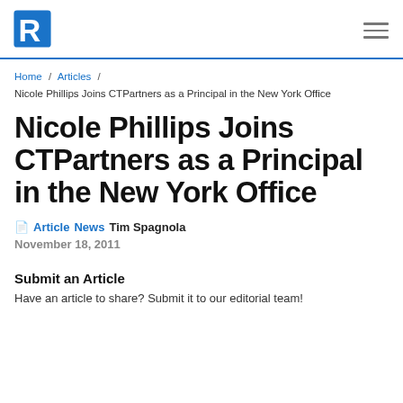R logo and navigation menu
Home / Articles / Nicole Phillips Joins CTPartners as a Principal in the New York Office
Nicole Phillips Joins CTPartners as a Principal in the New York Office
Article  News  Tim Spagnola
November 18, 2011
Submit an Article
Have an article to share? Submit it to our editorial team!